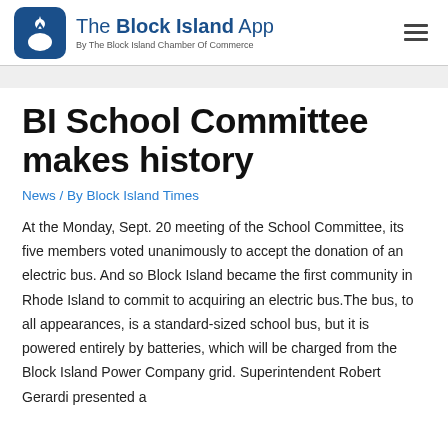The Block Island App — By The Block Island Chamber Of Commerce
BI School Committee makes history
News / By Block Island Times
At the Monday, Sept. 20 meeting of the School Committee, its five members voted unanimously to accept the donation of an electric bus. And so Block Island became the first community in Rhode Island to commit to acquiring an electric bus.The bus, to all appearances, is a standard-sized school bus, but it is powered entirely by batteries, which will be charged from the Block Island Power Company grid. Superintendent Robert Gerardi presented a